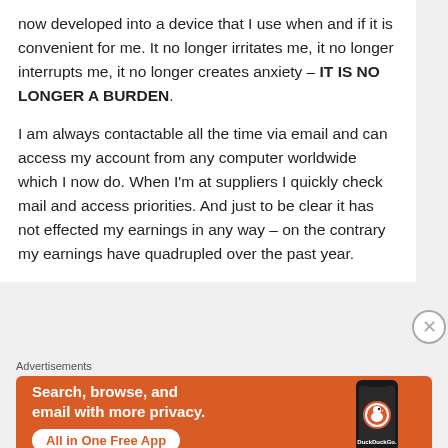now developed into a device that I use when and if it is convenient for me. It no longer irritates me, it no longer interrupts me, it no longer creates anxiety – IT IS NO LONGER A BURDEN.

I am always contactable all the time via email and can access my account from any computer worldwide which I now do. When I'm at suppliers I quickly check mail and access priorities. And just to be clear it has not effected my earnings in any way – on the contrary my earnings have quadrupled over the past year.
[Figure (screenshot): DuckDuckGo advertisement banner with orange background showing text 'Search, browse, and email with more privacy. All in One Free App' and a phone mockup with DuckDuckGo logo]